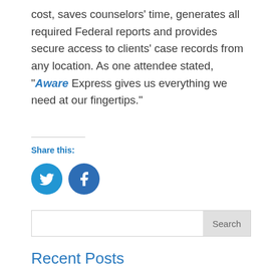cost, saves counselors' time, generates all required Federal reports and provides secure access to clients' case records from any location. As one attendee stated, "“Aware Express gives us everything we need at our fingertips.”
Share this:
[Figure (infographic): Twitter and Facebook share icon buttons (blue circles with white bird and f logos)]
Search
Recent Posts